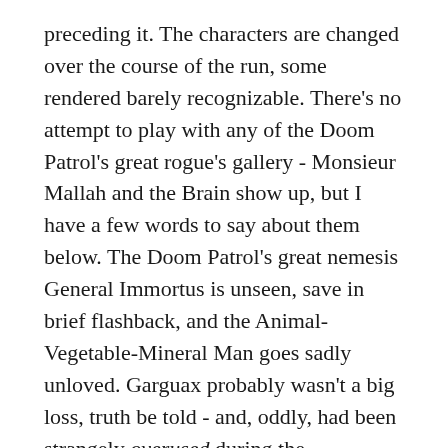preceding it. The characters are changed over the course of the run, some rendered barely recognizable. There's no attempt to play with any of the Doom Patrol's great rogue's gallery - Monsieur Mallah and the Brain show up, but I have a few words to say about them below. The Doom Patrol's great nemesis General Immortus is unseen, save in brief flashback, and the Animal-Vegetable-Mineral Man goes sadly unloved. Garguax probably wasn't a big loss, truth be told - and, oddly, had been strangely overused during the Kupperberg run - but the Brotherhood of Evil was turned into something else entirely. Which, you know, wasn't bad, but also wasn't really the same thing. And, for what it's worth - most members of The Brotherhood Of Dada were ciphers, at best pasted together out of Creation records fanfic, and at worse an excuse for Morrison to write bad AAVE